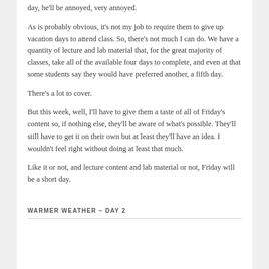day, he'll be annoyed, very annoyed.
As is probably obvious, it's not my job to require them to give up vacation days to attend class. So, there's not much I can do. We have a quantity of lecture and lab material that, for the great majority of classes, take all of the available four days to complete, and even at that some students say they would have preferred another, a fifth day.
There's a lot to cover.
But this week, well, I'll have to give them a taste of all of Friday's content so, if nothing else, they'll be aware of what's possible. They'll still have to get it on their own but at least they'll have an idea. I wouldn't feel right without doing at least that much.
Like it or not, and lecture content and lab material or not, Friday will be a short day.
WARMER WEATHER – DAY 2